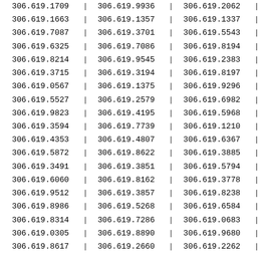| Col1 | Col2 | Col3 |
| --- | --- | --- |
| 306.619.1709 | 306.619.9936 | 306.619.2062 |
| 306.619.1663 | 306.619.1357 | 306.619.1337 |
| 306.619.7087 | 306.619.3701 | 306.619.5543 |
| 306.619.6325 | 306.619.7086 | 306.619.8194 |
| 306.619.8214 | 306.619.9545 | 306.619.2383 |
| 306.619.3715 | 306.619.3194 | 306.619.8197 |
| 306.619.0567 | 306.619.1375 | 306.619.9296 |
| 306.619.5527 | 306.619.2579 | 306.619.6982 |
| 306.619.9823 | 306.619.4195 | 306.619.5968 |
| 306.619.3594 | 306.619.7739 | 306.619.1210 |
| 306.619.4353 | 306.619.4807 | 306.619.6367 |
| 306.619.5872 | 306.619.8622 | 306.619.3885 |
| 306.619.3491 | 306.619.3851 | 306.619.5794 |
| 306.619.6060 | 306.619.8162 | 306.619.3778 |
| 306.619.9512 | 306.619.3857 | 306.619.8238 |
| 306.619.8986 | 306.619.5268 | 306.619.6584 |
| 306.619.8314 | 306.619.7286 | 306.619.0683 |
| 306.619.0305 | 306.619.8890 | 306.619.9680 |
| 306.619.8617 | 306.619.2660 | 306.619.2262 |